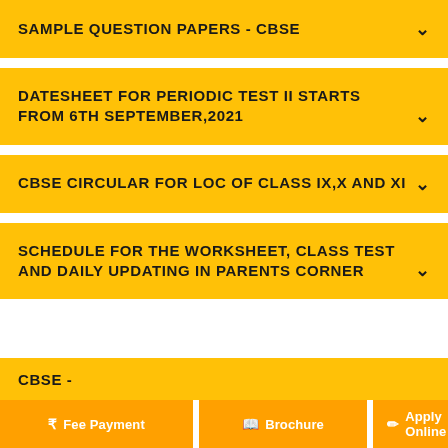SAMPLE QUESTION PAPERS - CBSE
DATESHEET FOR PERIODIC TEST II STARTS FROM 6TH SEPTEMBER,2021
CBSE CIRCULAR FOR LOC OF CLASS IX,X AND XI
SCHEDULE FOR THE WORKSHEET, CLASS TEST AND DAILY UPDATING IN PARENTS CORNER
CBSE -